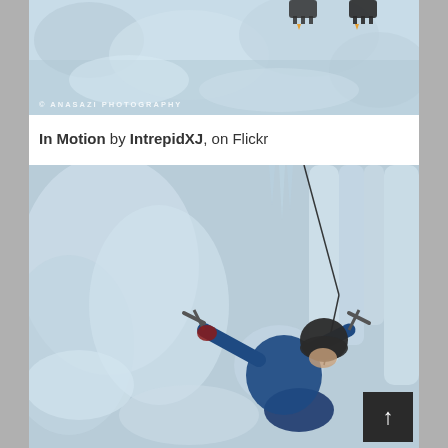[Figure (photo): Top portion of an ice climbing photo showing crampon boots on ice wall, with watermark '© ANASAZI PHOTOGRAPHY' at bottom left. Blue-white icy surface.]
In Motion by IntrepidXJ, on Flickr
[Figure (photo): Ice climber in blue jacket and black helmet, holding ice axes, looking upward at frozen waterfall/ice wall. Rope visible going up. Snow and ice formations surround the climber.]